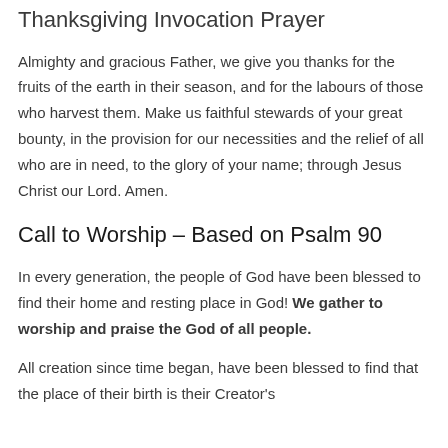Thanksgiving Invocation Prayer
Almighty and gracious Father, we give you thanks for the fruits of the earth in their season, and for the labours of those who harvest them. Make us faithful stewards of your great bounty, in the provision for our necessities and the relief of all who are in need, to the glory of your name; through Jesus Christ our Lord. Amen.
Call to Worship – Based on Psalm 90
In every generation, the people of God have been blessed to find their home and resting place in God! We gather to worship and praise the God of all people.
All creation since time began, have been blessed to find that the place of their birth is their Creator's